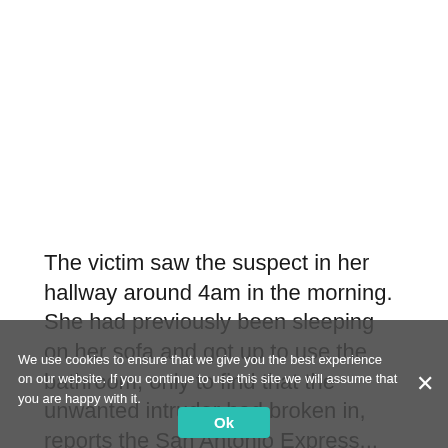The victim saw the suspect in her hallway around 4am in the morning. She had previously been sleeping on her sofa and got up to use the bathroom, only to find that the unwanted intruder had broken in, reports the San Antonio Express...
The victim told the courts she recognised the man as...
We use cookies to ensure that we give you the best experience on our website. If you continue to use this site we will assume that you are happy with it.